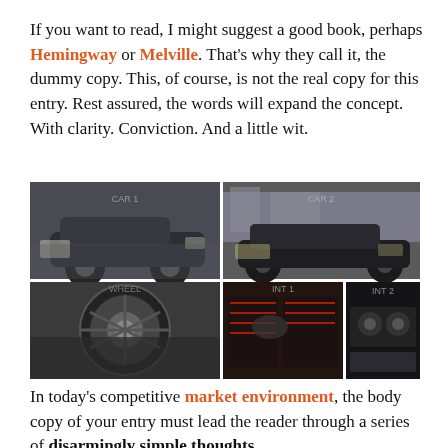If you want to read, I might suggest a good book, perhaps Hemingway or Melville. That's why they call it, the dummy copy. This, of course, is not the real copy for this entry. Rest assured, the words will expand the concept. With clarity. Conviction. And a little wit.
[Figure (photo): A collage of six car photos: top row shows three black luxury/sport cars (Mercedes-Benz coupes) from exterior side angles, plus one small car on far right. Bottom row shows a wheel close-up, a car interior with red-stitched seats, and another interior view.]
In today's competitive market environment, the body copy of your entry must lead the reader through a series of disarmingly simple thoughts.
All your supporting arguments must be communicated with simplicity and charm. And in such cases, the body copy will end here. After all, the time...